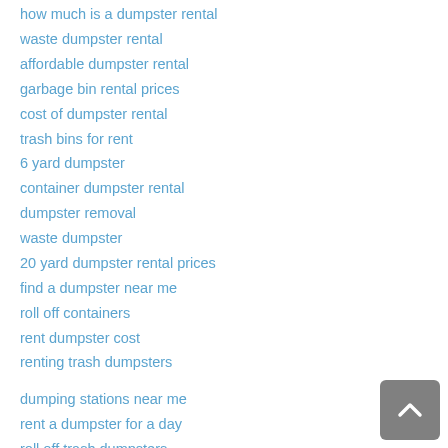how much is a dumpster rental
waste dumpster rental
affordable dumpster rental
garbage bin rental prices
cost of dumpster rental
trash bins for rent
6 yard dumpster
container dumpster rental
dumpster removal
waste dumpster
20 yard dumpster rental prices
find a dumpster near me
roll off containers
rent dumpster cost
renting trash dumpsters
dumping stations near me
rent a dumpster for a day
roll off trash dumpsters
rolloff dumpster rental